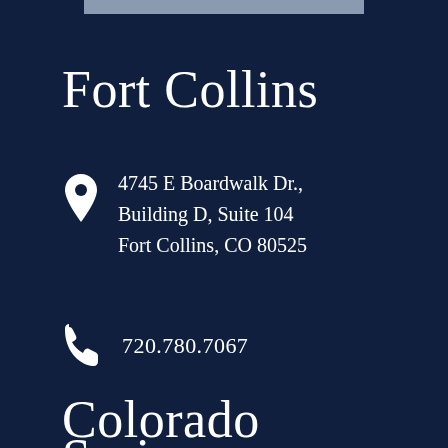Fort Collins
4745 E Boardwalk Dr., Building D, Suite 104 Fort Collins, CO 80525
720.780.7067
Colorado Springs